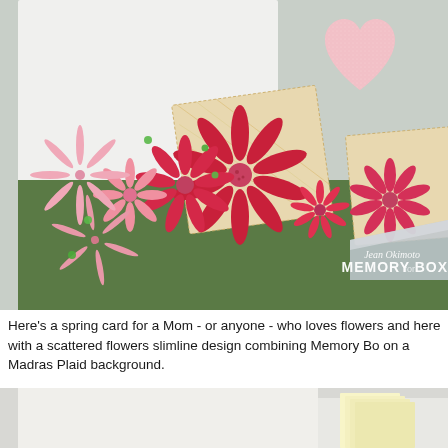[Figure (photo): Close-up photo of a handmade spring card showing red and pink die-cut flowers (daisy style), a large pink glitter heart, scattered on a light card base with plaid patterned paper background and green gem embellishments. Watermark reads 'Jean Okimoto for MEMORY BOX' in white text. Green diagonal card stock and silver/holographic envelope visible at bottom.]
Here's a spring card for a Mom - or anyone - who loves flowers and here with a scattered flowers slimline design combining Memory Bo on a Madras Plaid background.
[Figure (photo): Partial view of card making supplies or card layers, showing light pastel colored paper layers on a light grey background.]